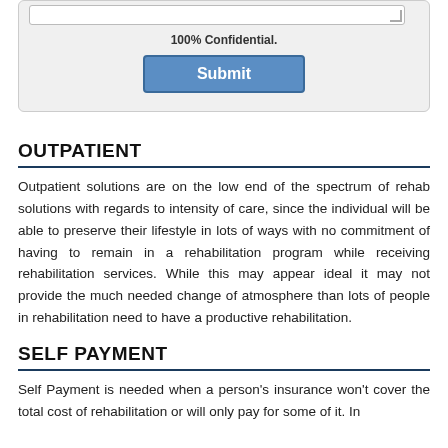100% Confidential.
Submit
OUTPATIENT
Outpatient solutions are on the low end of the spectrum of rehab solutions with regards to intensity of care, since the individual will be able to preserve their lifestyle in lots of ways with no commitment of having to remain in a rehabilitation program while receiving rehabilitation services. While this may appear ideal it may not provide the much needed change of atmosphere than lots of people in rehabilitation need to have a productive rehabilitation.
SELF PAYMENT
Self Payment is needed when a person's insurance won't cover the total cost of rehabilitation or will only pay for some of it. In